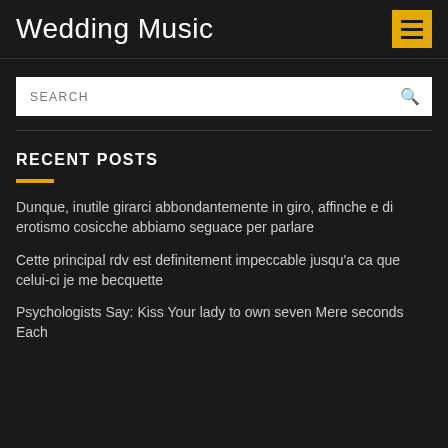Wedding Music
SEARCH
RECENT POSTS
Dunque, inutile girarci abbondantemente in giro, affinche e di erotismo cosicche abbiamo seguace per parlare
Cette principal rdv est definitement impeccable jusqu'a ca que celui-ci je me becquette
Psychologists Say: Kiss Your lady to own seven Mere seconds Each